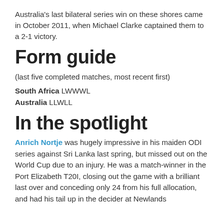Australia's last bilateral series win on these shores came in October 2011, when Michael Clarke captained them to a 2-1 victory.
Form guide
(last five completed matches, most recent first)
South Africa LWWWL
Australia LLWLL
In the spotlight
Anrich Nortje was hugely impressive in his maiden ODI series against Sri Lanka last spring, but missed out on the World Cup due to an injury. He was a match-winner in the Port Elizabeth T20I, closing out the game with a brilliant last over and conceding only 24 from his full allocation, and had his tail up in the decider at Newlands